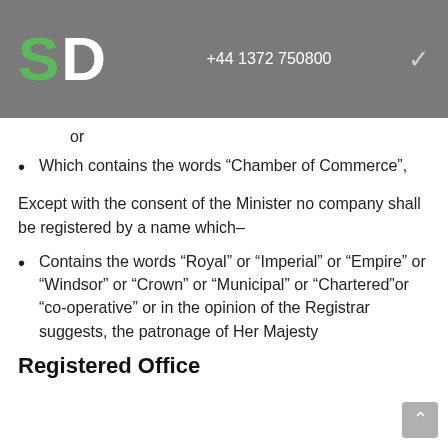SD  +44 1372 750800
or
Which contains the words “Chamber of Commerce”,
Except with the consent of the Minister no company shall be registered by a name which–
Contains the words “Royal” or “Imperial” or “Empire” or “Windsor” or “Crown” or “Municipal” or “Chartered”or “co-operative” or in the opinion of the Registrar suggests, the patronage of Her Majesty
Registered Office